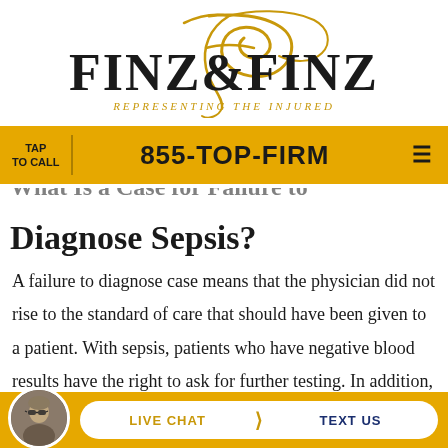[Figure (logo): Finz & Finz law firm logo with decorative gold script F and serif text, tagline 'Representing The Injured']
TAP TO CALL | 855-TOP-FIRM | menu
What Is a Case for Failure to Diagnose Sepsis?
A failure to diagnose case means that the physician did not rise to the standard of care that should have been given to a patient. With sepsis, patients who have negative blood results have the right to ask for further testing. In addition,
LIVE CHAT | TEXT US